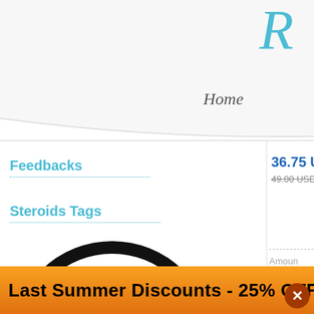[Figure (screenshot): Partial website screenshot showing navigation bar with 'Home' and 'News' links, a logo partial 'R' in teal italic script, left sidebar with 'Feedbacks' and 'Steroids Tags' links, Bitcoin logo, product price '36.75 USD' with crossed-out '49.00 USD', product labels (Dosage, Manufacturer, Quantity, Purchase), a clenbuterol product image, 'Clem' link in orange, and an orange promotional banner at the bottom saying 'Last Summer Discounts - 25% OFF' with a close button.]
Home
News
Feedbacks
Steroids Tags
36.75 USD
49.00 USD
Dosage
Manuf
Quanti
Purcha
Amoun
Clem
Drug C
Brand
Last Summer Discounts - 25% OFF